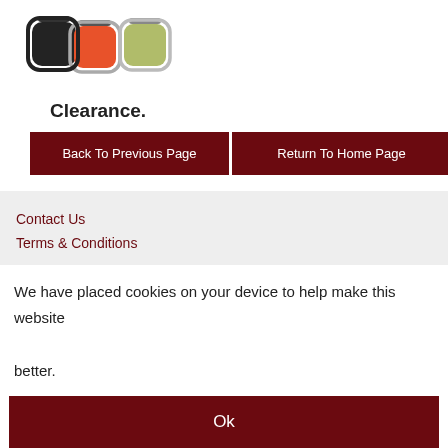[Figure (photo): Product image showing small square-shaped devices/clips in black, red/orange, and olive/green colors]
Clearance.
Back To Previous Page
Return To Home Page
Contact Us
Terms & Conditions
We have placed cookies on your device to help make this website better.
Ok